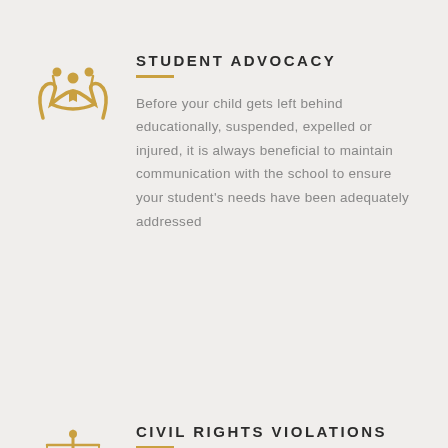[Figure (illustration): Gold icon of two adults holding a child between uplifted hands, representing student advocacy]
STUDENT ADVOCACY
Before your child gets left behind educationally, suspended, expelled or injured, it is always beneficial to maintain communication with the school to ensure your student's needs have been adequately addressed
[Figure (illustration): Gold icon of a balance scale representing civil rights and justice]
CIVIL RIGHTS VIOLATIONS